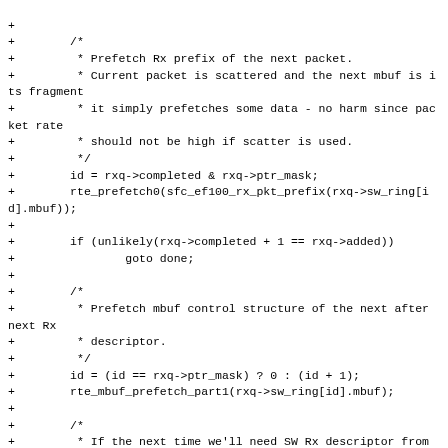Code diff showing prefetch logic for Rx packet processing in a network driver